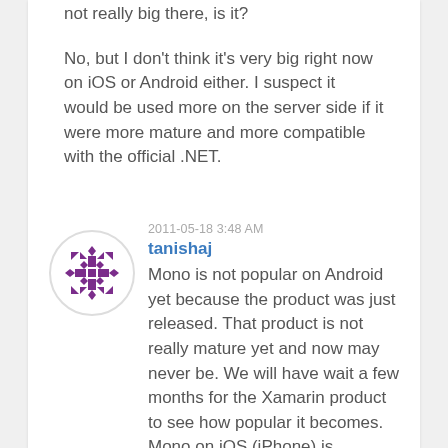not really big there, is it?
No, but I don't think it's very big right now on iOS or Android either. I suspect it would be used more on the server side if it were more mature and more compatible with the official .NET.
2011-05-18 3:48 AM
tanishaj
[Figure (illustration): Circular avatar with purple geometric/snowflake pattern on white background]
Mono is not popular on Android yet because the product was just released. That product is not really mature yet and now may never be. We will have wait a few months for the Xamarin product to see how popular it becomes. Mono on iOS (iPhone) is